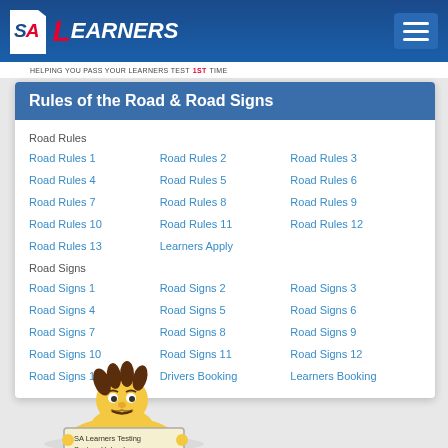SA Learners — Helping you pass your learners test 1st time
Rules of the Road & Road Signs
Road Rules
Road Rules 1
Road Rules 2
Road Rules 3
Road Rules 4
Road Rules 5
Road Rules 6
Road Rules 7
Road Rules 8
Road Rules 9
Road Rules 10
Road Rules 11
Road Rules 12
Road Rules 13
Learners Apply
Road Signs
Road Signs 1
Road Signs 2
Road Signs 3
Road Signs 4
Road Signs 5
Road Signs 6
Road Signs 7
Road Signs 8
Road Signs 9
Road Signs 10
Road Signs 11
Road Signs 12
Road Signs 13
Drivers Booking
Learners Booking
[Figure (illustration): Cartoon character holding a sign reading 'SA Learners Testing System Helped me']